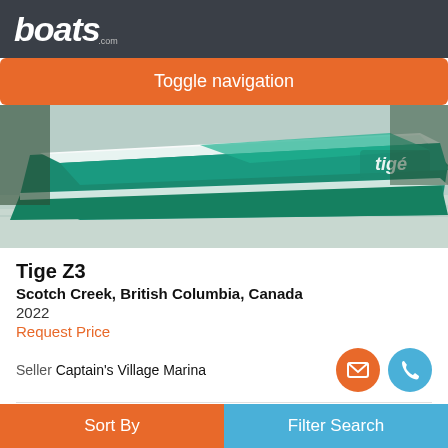boats.com
Toggle navigation
[Figure (photo): A green and white Tige Z3 boat on water, rear view showing the hull and logo]
Tige Z3
Scotch Creek, British Columbia, Canada
2022
Request Price
Seller Captain's Village Marina
Available Soon
[Figure (photo): Partial view of a second boat listing image strip]
Sort By
Filter Search